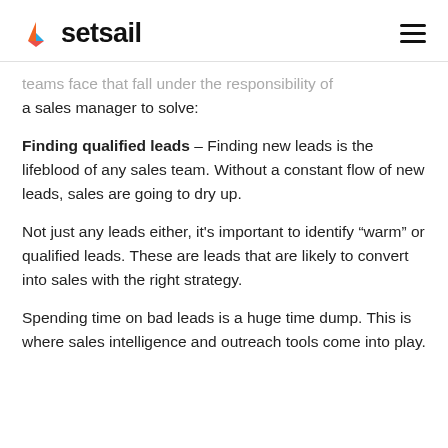setsail
teams face that fall under the responsibility of a sales manager to solve:
Finding qualified leads - Finding new leads is the lifeblood of any sales team. Without a constant flow of new leads, sales are going to dry up.
Not just any leads either, it’s important to identify “warm” or qualified leads. These are leads that are likely to convert into sales with the right strategy.
Spending time on bad leads is a huge time dump. This is where sales intelligence and outreach tools come into play.